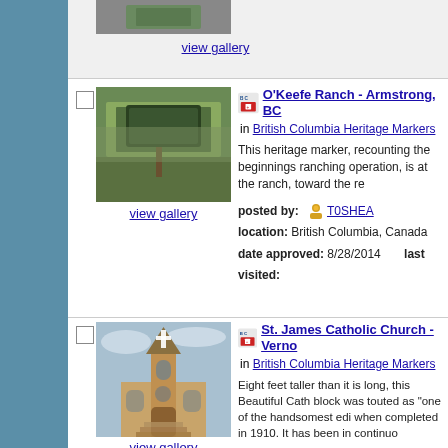view gallery
[Figure (photo): Heritage marker sign in front of O'Keefe Ranch building]
view gallery
O'Keefe Ranch - Armstrong, BC
in British Columbia Heritage Markers
This heritage marker, recounting the beginnings ranching operation, is at the ranch, toward the re
posted by: T0SHEA
location: British Columbia, Canada
date approved: 8/28/2014  last visited:
[Figure (photo): St. James Catholic Church stone building with tower and cross]
view gallery
St. James Catholic Church - Verno
in British Columbia Heritage Markers
Eight feet taller than it is long, this Beautiful Cath block was touted as "one of the handsomest edi when completed in 1910. It has been in continuo
posted by: T0SHEA
location: British Columbia, Canada
date approved: 8/28/2014  last visited: